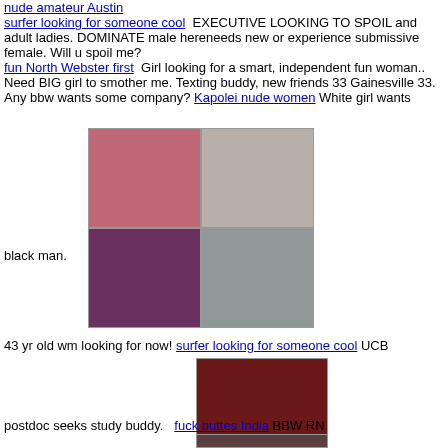nude amateur Austin
surfer looking for someone cool  EXECUTIVE LOOKING TO SPOIL and adult ladies. DOMINATE male hereneeds new or experience submissive female. Will u spoil me?
fun North Webster first   Girl looking for a smart, independent fun woman.. Need BIG girl to smother me. Texting buddy, new friends 33 Gainesville 33.
Any bbw wants some company? Kapolei nude women  White girl wants
[Figure (photo): Grid of four photos of women]
black man.
43 yr old wm looking for now! surfer looking for someone cool  UCB
[Figure (photo): Photo of woman with red hair]
postdoc seeks study buddy.   fuck buttes India  BBW RN
[Figure (photo): Partial photo at bottom]